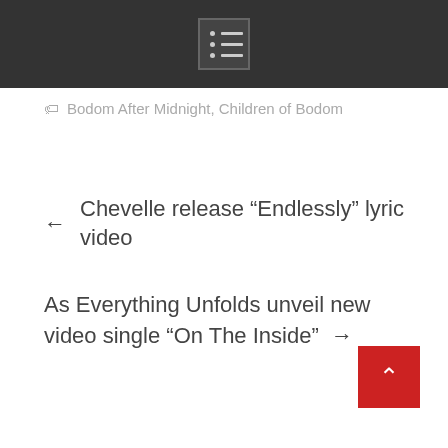[Menu icon]
Bodom After Midnight, Children of Bodom
← Chevelle release “Endlessly” lyric video
As Everything Unfolds unveil new video single “On The Inside” →